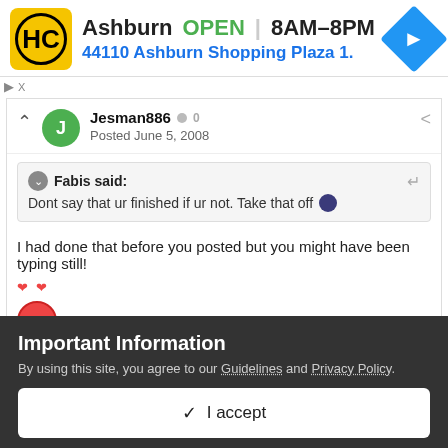[Figure (screenshot): Ad banner for Ashburn location showing HC logo, OPEN status, hours 8AM-8PM, address 44110 Ashburn Shopping Plaza 1., and blue navigation arrow icon]
Jesman886  0
Posted June 5, 2008
Fabis said:
Dont say that ur finished if ur not. Take that off
I had done that before you posted but you might have been typing still!
Important Information
By using this site, you agree to our Guidelines and Privacy Policy.
I accept